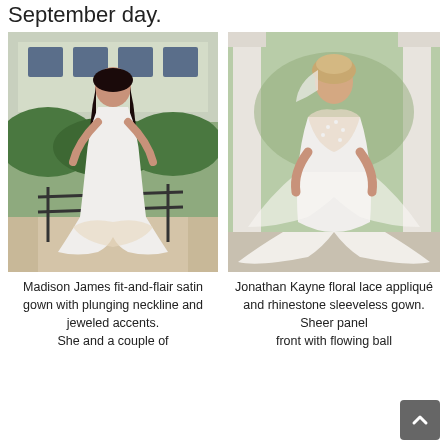September day.
[Figure (photo): Bride in white Madison James fit-and-flair satin gown with plunging neckline and jeweled accents, standing at iron railing in garden setting]
Madison James fit-and-flair satin gown with plunging neckline and jeweled accents. She and a couple of...
[Figure (photo): Bride in Jonathan Kayne floral lace appliqué and rhinestone sleeveless gown with sheer panel, posing between columns in outdoor setting]
Jonathan Kayne floral lace appliqué and rhinestone sleeveless gown. Sheer panel front with flowing ball...